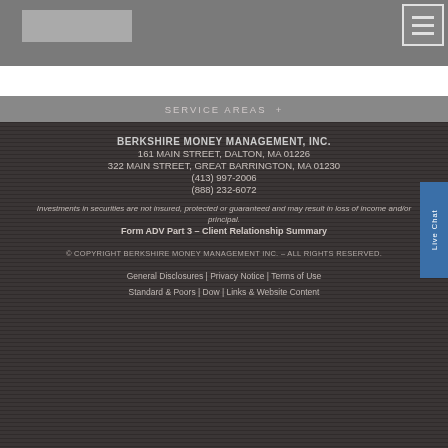Berkshire Money Management
SERVICE AREAS +
BERKSHIRE MONEY MANAGEMENT, INC.
161 MAIN STREET, DALTON, MA 01226
322 MAIN STREET, GREAT BARRINGTON, MA 01230
(413) 997-2006
(888) 232-6072
Investments in securities are not insured, protected or guaranteed and may result in loss of income and/or principal.
Form ADV Part 3 – Client Relationship Summary
© COPYRIGHT BERKSHIRE MONEY MANAGEMENT INC. – ALL RIGHTS RESERVED.
General Disclosures | Privacy Notice | Terms of Use
Standard & Poors | Dow | Links & Website Content